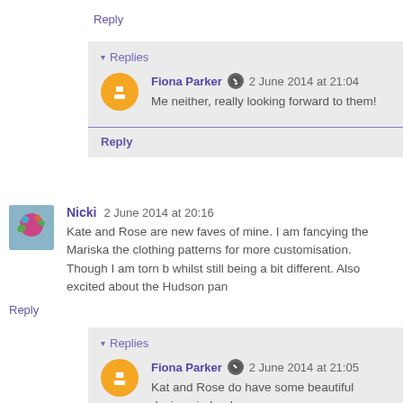Reply
▾ Replies
Fiona Parker  2 June 2014 at 21:04
Me neither, really looking forward to them!
Reply
Nicki  2 June 2014 at 20:16
Kate and Rose are new faves of mine. I am fancying the Mariska the clothing patterns for more customisation. Though I am torn b whilst still being a bit different. Also excited about the Hudson pan
Reply
▾ Replies
Fiona Parker  2 June 2014 at 21:05
Kat and Rose do have some beautiful designs indeed an
Reply